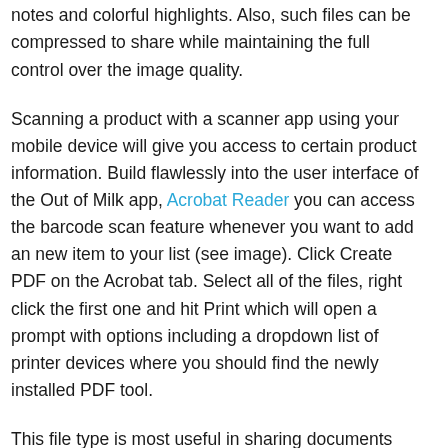performance. You can share, comment, edit, and export PDF files and organize your files with sticky notes and colorful highlights. Also, such files can be compressed to share while maintaining the full control over the image quality.
Scanning a product with a scanner app using your mobile device will give you access to certain product information. Build flawlessly into the user interface of the Out of Milk app, Acrobat Reader you can access the barcode scan feature whenever you want to add an new item to your list (see image). Click Create PDF on the Acrobat tab. Select all of the files, right click the first one and hit Print which will open a prompt with options including a dropdown list of printer devices where you should find the newly installed PDF tool.
This file type is most useful in sharing documents such as magazine articles, product brochures or flyers. You can share your documents in PDF using Dropbox , WeTransfer or whatever platform that you like. Please do not download and install